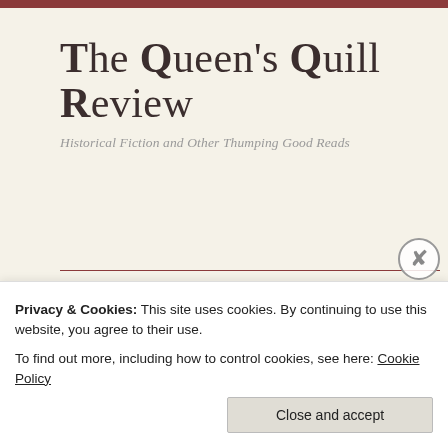The Queen's Quill Review
Historical Fiction and Other Thumping Good Reads
Menu
Tag Archives: The Valley of Amazement
Privacy & Cookies: This site uses cookies. By continuing to use this website, you agree to their use.
To find out more, including how to control cookies, see here: Cookie Policy
Close and accept